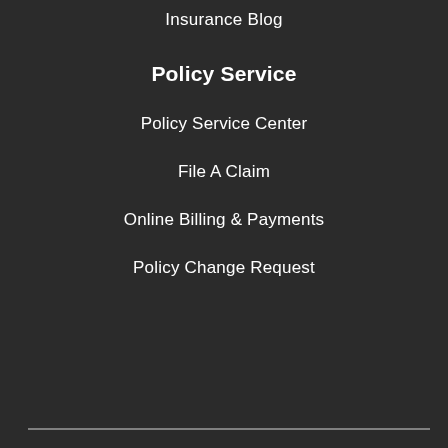Insurance Blog
Policy Service
Policy Service Center
File A Claim
Online Billing & Payments
Policy Change Request